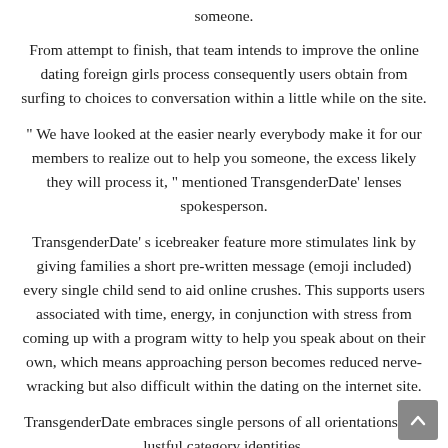someone.
From attempt to finish, that team intends to improve the online dating foreign girls process consequently users obtain from surfing to choices to conversation within a little while on the site.
“ We have looked at the easier nearly everybody make it for our members to realize out to help you someone, the excess likely they will process it, ” mentioned TransgenderDate’ lenses spokesperson.
TransgenderDate’ s icebreaker feature more stimulates link by giving families a short pre-written message (emoji included) every single child send to aid online crushes. This supports users associated with time, energy, in conjunction with stress from coming up with a program witty to help you speak about on their own, which means approaching person becomes reduced nerve-wracking but also difficult within the dating on the internet site.
TransgenderDate embraces single persons of all orientations and lustful category identities.